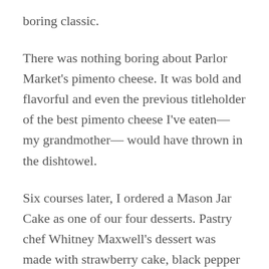boring classic.
There was nothing boring about Parlor Market's pimento cheese. It was bold and flavorful and even the previous titleholder of the best pimento cheese I've eaten— my grandmother— would have thrown in the dishtowel.
Six courses later, I ordered a Mason Jar Cake as one of our four desserts. Pastry chef Whitney Maxwell's dessert was made with strawberry cake, black pepper icing, strawberry sorbet, and balsamic syrup.